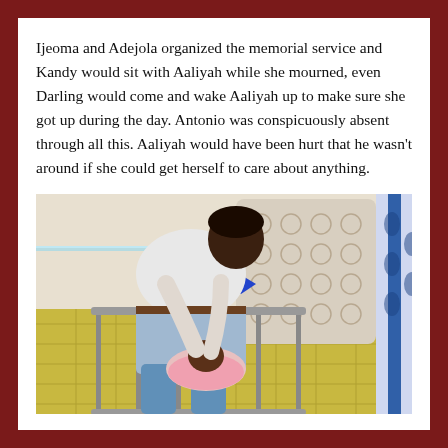Ijeoma and Adejola organized the memorial service and Kandy would sit with Aaliyah while she mourned, even Darling would come and wake Aaliyah up to make sure she got up during the day. Antonio was conspicuously absent through all this. Aaliyah would have been hurt that he wasn’t around if she could get herself to care about anything.
[Figure (screenshot): A Sims-style 3D game screenshot showing a dark-skinned character in a white shirt and light blue shorts leaning over a crib to tend to a baby wrapped in a pink blanket. The room has a quilted headboard, blue and white curtains, and a yellow patterned floor.]